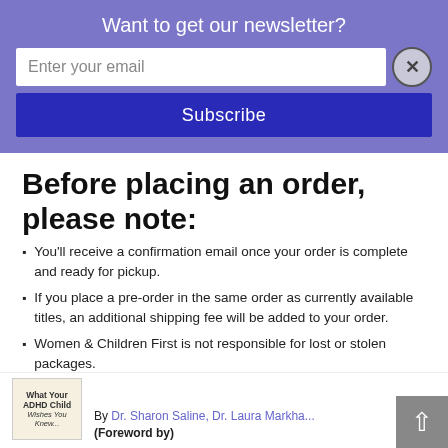Want to get our newsletter?
Enter your email
Subscribe
Before placing an order, please note:
You'll receive a confirmation email once your order is complete and ready for pickup.
If you place a pre-order in the same order as currently available titles, an additional shipping fee will be added to your order.
Women & Children First is not responsible for lost or stolen packages.
By Dr. Sharon Saline, Dr. Laura Markham (Foreword by)